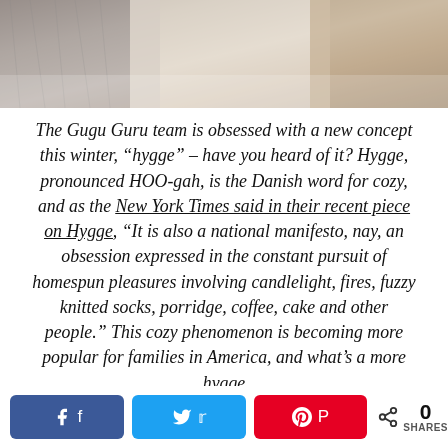[Figure (photo): Partial photo at top of page showing cozy winter textures — fur, knit fabric, warm tones]
The Gugu Guru team is obsessed with a new concept this winter, “hygge” – have you heard of it? Hygge, pronounced HOO-gah, is the Danish word for cozy, and as the New York Times said in their recent piece on Hygge, “It is also a national manifesto, nay, an obsession expressed in the constant pursuit of homespun pleasures involving candlelight, fires, fuzzy knitted socks, porridge, coffee, cake and other people.” This cozy phenomenon is becoming more popular for families in America, and what’s a more hygge
0 SHARES